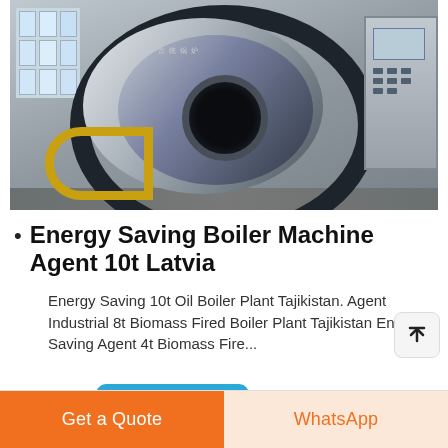[Figure (photo): Industrial boiler machine (large cylindrical steel boiler) inside a factory/warehouse. A large dark-rimmed silver boiler body with a black circular opening in the center. A control panel is visible on the right side. A yellow hose is on the lower left. Factory windows visible on the left.]
Energy Saving Boiler Machine Agent 10t Latvia
Energy Saving 10t Oil Boiler Plant Tajikistan. Agent Industrial 8t Biomass Fired Boiler Plant Tajikistan Energy Saving Agent 4t Biomass Fire...
Learn More
Get a Quote
WhatsApp